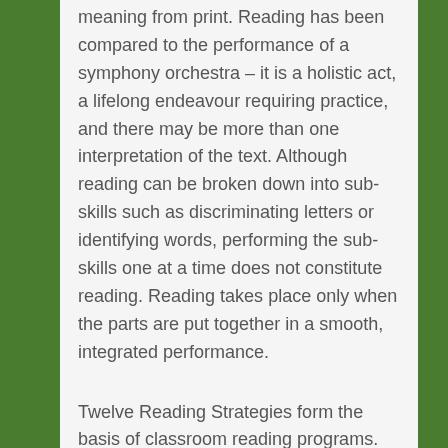meaning from print. Reading has been compared to the performance of a symphony orchestra – it is a holistic act, a lifelong endeavour requiring practice, and there may be more than one interpretation of the text. Although reading can be broken down into sub-skills such as discriminating letters or identifying words, performing the sub-skills one at a time does not constitute reading. Reading takes place only when the parts are put together in a smooth, integrated performance.
Twelve Reading Strategies form the basis of classroom reading programs. These twelve Reading Strategies are what good readers use when they try to understand a reading selection, whether they are five or fifty-five. In order to comprehend the text, readers use